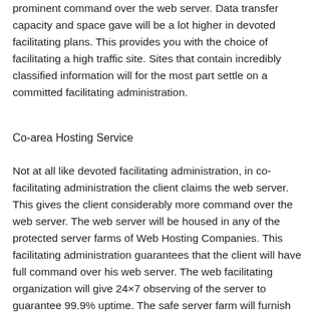prominent command over the web server. Data transfer capacity and space gave will be a lot higher in devoted facilitating plans. This provides you with the choice of facilitating a high traffic site. Sites that contain incredibly classified information will for the most part settle on a committed facilitating administration.
Co-area Hosting Service
Not at all like devoted facilitating administration, in co-facilitating administration the client claims the web server. This gives the client considerably more command over the web server. The web server will be housed in any of the protected server farms of Web Hosting Companies. This facilitating administration guarantees that the client will have full command over his web server. The web facilitating organization will give 24×7 observing of the server to guarantee 99.9% uptime. The safe server farm will furnish the client with brief upkeep. This will guarantee